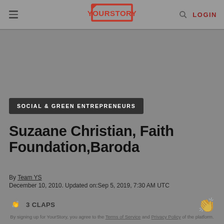YourStory — LOGIN
SOCIAL & GREEN ENTREPRENEURS
Suzaane Christian, Faith Foundation,Baroda
By Team YS
December 10, 2010. Updated on:Sep 5, 2019, 7:30 AM UTC
3 CLAPS
By signing up for YourStory, you agree to the Terms of Service and Privacy Policy of the platform.